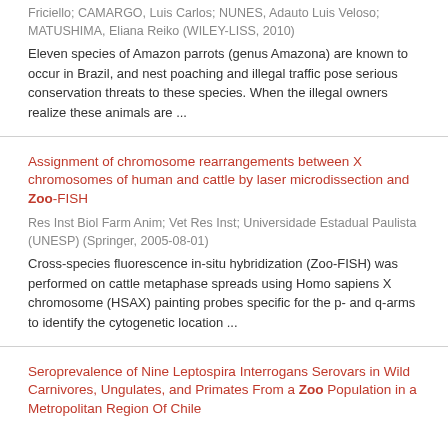Friciello; CAMARGO, Luis Carlos; NUNES, Adauto Luis Veloso; MATUSHIMA, Eliana Reiko (WILEY-LISS, 2010)
Eleven species of Amazon parrots (genus Amazona) are known to occur in Brazil, and nest poaching and illegal traffic pose serious conservation threats to these species. When the illegal owners realize these animals are ...
Assignment of chromosome rearrangements between X chromosomes of human and cattle by laser microdissection and Zoo-FISH
Res Inst Biol Farm Anim; Vet Res Inst; Universidade Estadual Paulista (UNESP) (Springer, 2005-08-01)
Cross-species fluorescence in-situ hybridization (Zoo-FISH) was performed on cattle metaphase spreads using Homo sapiens X chromosome (HSAX) painting probes specific for the p- and q-arms to identify the cytogenetic location ...
Seroprevalence of Nine Leptospira Interrogans Serovars in Wild Carnivores, Ungulates, and Primates From a Zoo Population in a Metropolitan Region Of Chile